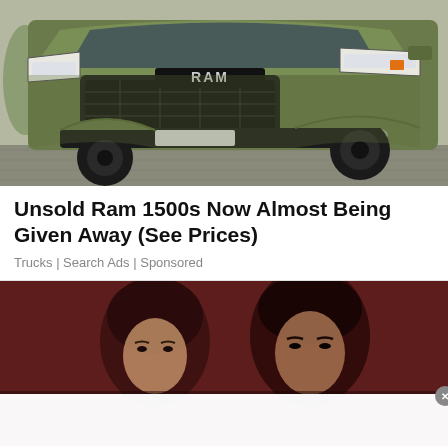[Figure (photo): Front view of a RAM 1500 pickup truck in matte olive/army green color with large off-road tires and black grille, parked on a tiled surface]
Unsold Ram 1500s Now Almost Being Given Away (See Prices)
Trucks | Search Ads | Sponsored
[Figure (photo): Close-up photo of two people, a woman and a man, in a dark reddish-toned image, partially visible]